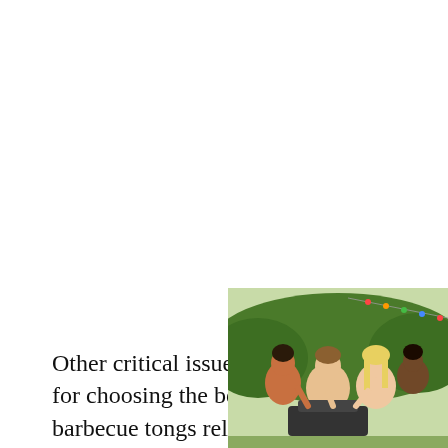Other critical issues for choosing the best barbecue tongs relate
[Figure (photo): A group of people gathered outdoors at a barbecue or garden party, smiling and looking down, with colorful string lights and green foliage in the background.]